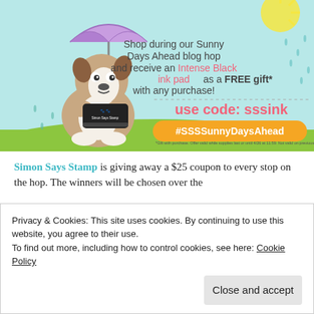[Figure (illustration): Simon Says Stamp promotional banner. A cartoon dog holds an ink pad under a purple umbrella while it rains. Text reads: 'Shop during our Sunny Days Ahead blog hop and receive an Intense Black ink pad as a FREE gift* with any purchase! use code: sssink #SSSSunnyDaysAhead *Gift with purchase. Offer valid while supplies last or until 4/26 at 11:59. Not valid on previous purchases.']
Simon Says Stamp is giving away a $25 coupon to every stop on the hop. The winners will be chosen over the
Privacy & Cookies: This site uses cookies. By continuing to use this website, you agree to their use.
To find out more, including how to control cookies, see here: Cookie Policy